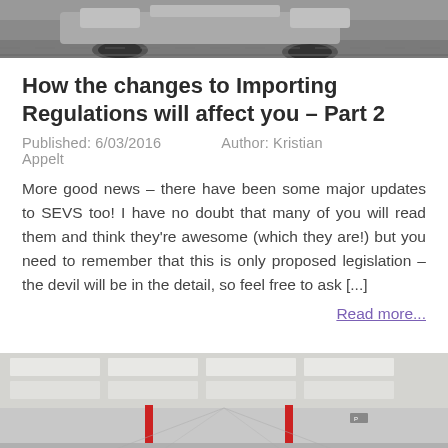[Figure (photo): Partial view of a car on pavement, top portion cropped]
How the changes to Importing Regulations will affect you – Part 2
Published: 6/03/2016    Author: Kristian Appelt
More good news – there have been some major updates to SEVS too! I have no doubt that many of you will read them and think they're awesome (which they are!) but you need to remember that this is only proposed legislation – the devil will be in the detail, so feel free to ask [...]
Read more...
[Figure (photo): Indoor parking garage filled with white cars, viewed from a low angle perspective]